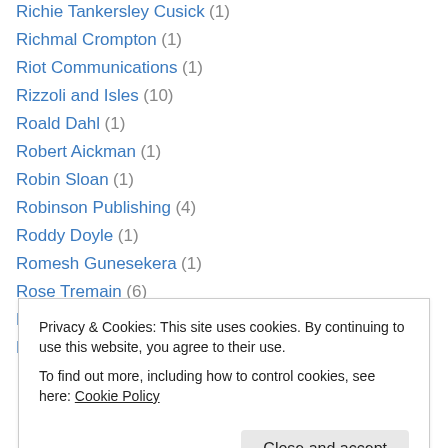Richie Tankersley Cusick (1)
Richmal Crompton (1)
Riot Communications (1)
Rizzoli and Isles (10)
Roald Dahl (1)
Robert Aickman (1)
Robin Sloan (1)
Robinson Publishing (4)
Roddy Doyle (1)
Romesh Gunesekera (1)
Rose Tremain (6)
Rounding Up The Reviews (4)
Rupert Smith (1)
Privacy & Cookies: This site uses cookies. By continuing to use this website, you agree to their use. To find out more, including how to control cookies, see here: Cookie Policy